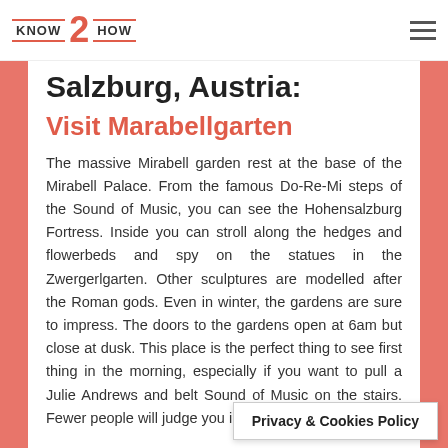KNOW 2 HOW
Salzburg, Austria:
Visit Marabellgarten
The massive Mirabell garden rest at the base of the Mirabell Palace. From the famous Do-Re-Mi steps of the Sound of Music, you can see the Hohensalzburg Fortress. Inside you can stroll along the hedges and flowerbeds and spy on the statues in the Zwergerlgarten. Other sculptures are modelled after the Roman gods. Even in winter, the gardens are sure to impress. The doors to the gardens open at 6am but close at dusk. This place is the perfect thing to see first thing in the morning, especially if you want to pull a Julie Andrews and belt Sound of Music on the stairs. Fewer people will judge you in the morning.
Privacy & Cookies Policy